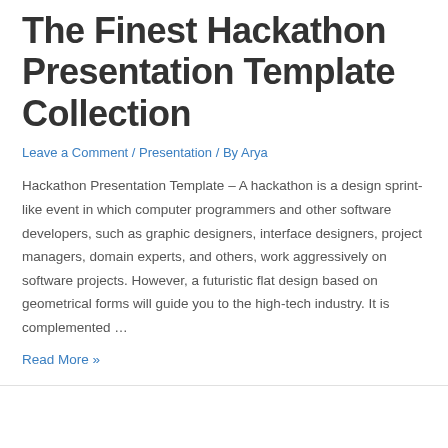The Finest Hackathon Presentation Template Collection
Leave a Comment / Presentation / By Arya
Hackathon Presentation Template – A hackathon is a design sprint-like event in which computer programmers and other software developers, such as graphic designers, interface designers, project managers, domain experts, and others, work aggressively on software projects. However, a futuristic flat design based on geometrical forms will guide you to the high-tech industry. It is complemented …
Read More »